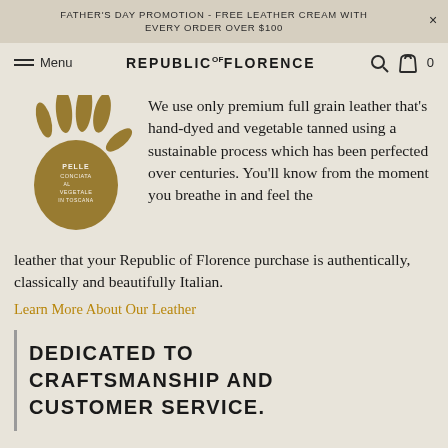FATHER'S DAY PROMOTION - FREE LEATHER CREAM WITH EVERY ORDER OVER $100
Menu  REPUBLIC OF FLORENCE  0
[Figure (illustration): Brown hand stamp logo reading PELLE CONCIATA AL VEGETALE IN TOSCANA]
We use only premium full grain leather that's hand-dyed and vegetable tanned using a sustainable process which has been perfected over centuries. You'll know from the moment you breathe in and feel the leather that your Republic of Florence purchase is authentically, classically and beautifully Italian.
Learn More About Our Leather
DEDICATED TO CRAFTSMANSHIP AND CUSTOMER SERVICE.